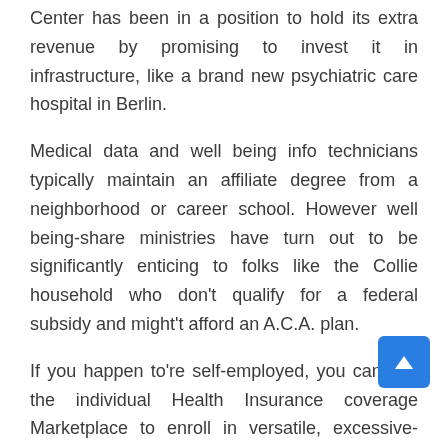Center has been in a position to hold its extra revenue by promising to invest it in infrastructure, like a brand new psychiatric care hospital in Berlin.
Medical data and well being info technicians typically maintain an affiliate degree from a neighborhood or career school. However well being-share ministries have turn out to be significantly enticing to folks like the Collie household who don't qualify for a federal subsidy and might't afford an A.C.A. plan.
If you happen to're self-employed, you can use the individual Health Insurance coverage Marketplace to enroll in versatile, excessive-quality health coverage that works well for people who run their own companies. In Singapore, the Ministry of Well being has drawn up the TCM Practitioners' Moral Code and Ethical Pointers to stop any unscrupulous practitioners from preying on their patients and making the most of their beliefs, for instance,